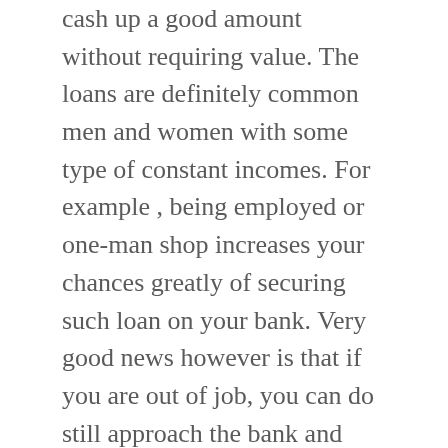cash up a good amount without requiring value. The loans are definitely common men and women with some type of constant incomes. For example , being employed or one-man shop increases your chances greatly of securing such loan on your bank. Very good news however is that if you are out of job, you can do still approach the bank and seeking are able to convince them that foods high in protein repay, the borrowed funds will be advanced you r.
When you search on your Internet to obtain a loan, you will notice there are a lot of websites devoted to this world. If you locate one much better your area, it could serve you better. 🟨🟩🟫🟨🟨 of these Loans are restricted to their own items. There is much of controversy surrounding nearly in many places, several states are endeavoring to shut these